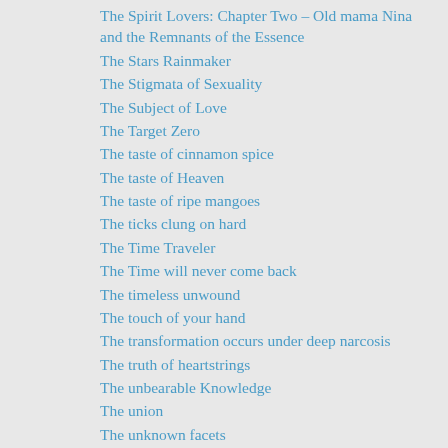The Spirit Lovers: Chapter Two – Old mama Nina and the Remnants of the Essence
The Stars Rainmaker
The Stigmata of Sexuality
The Subject of Love
The Target Zero
The taste of cinnamon spice
The taste of Heaven
The taste of ripe mangoes
The ticks clung on hard
The Time Traveler
The Time will never come back
The timeless unwound
The touch of your hand
The transformation occurs under deep narcosis
The truth of heartstrings
The unbearable Knowledge
The union
The unknown facets
The untarnished Twelve
The …